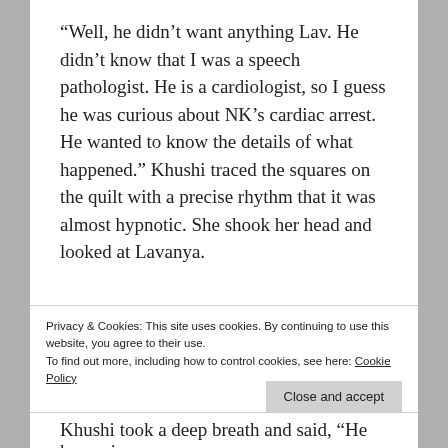“Well, he didn’t want anything Lav. He didn’t know that I was a speech pathologist. He is a cardiologist, so I guess he was curious about NK’s cardiac arrest. He wanted to know the details of what happened.” Khushi traced the squares on the quilt with a precise rhythm that it was almost hypnotic. She shook her head and looked at Lavanya.
Privacy & Cookies: This site uses cookies. By continuing to use this website, you agree to their use.
To find out more, including how to control cookies, see here: Cookie Policy
Khushi took a deep breath and said, “He has a six